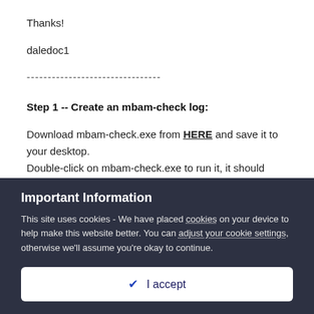Thanks!
daledoc1
--------------------------------
Step 1 -- Create an mbam-check log:
Download mbam-check.exe from HERE and save it to your desktop.
Double-click on mbam-check.exe to run it, it should then open a log file.
Important Information
This site uses cookies - We have placed cookies on your device to help make this website better. You can adjust your cookie settings, otherwise we'll assume you're okay to continue.
✓  I accept